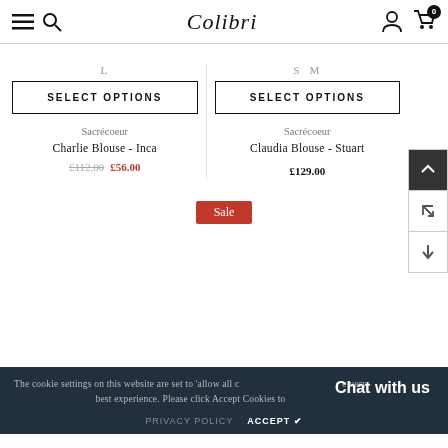Colibri — navigation header with menu, search, account, and cart icons
L
SELECT OPTIONS
Sacrécoeur
Charlie Blouse - Inca
£112.00  £56.00
S  M
SELECT OPTIONS
Sacrécoeur
Claudia Blouse - Stuart
£129.00
Sale
The cookie settings on this website are set to 'allow all cookies' to give you the very best experience. Please click Accept Cookies to
Chat with us
PRIVACY POLICY   ACCEPT ✔